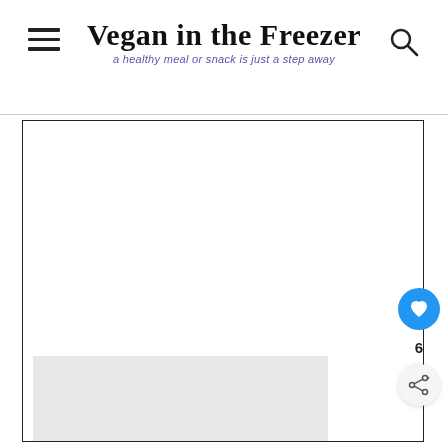Vegan in the Freezer — a healthy meal or snack is just a step away
[Figure (screenshot): A webpage screenshot showing a mostly blank white content area bordered by a thin black rectangle, with a light gray image placeholder rectangle in the lower left of the content area.]
[Figure (infographic): Floating action buttons on the right side: a blue circular heart/favorite button, a count of 6, and a white circular share button.]